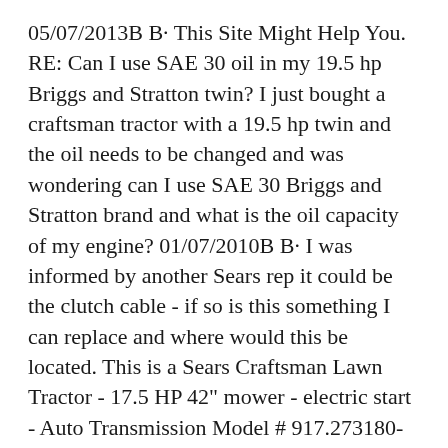05/07/2013В В· This Site Might Help You. RE: Can I use SAE 30 oil in my 19.5 hp Briggs and Stratton twin? I just bought a craftsman tractor with a 19.5 hp twin and the oil needs to be changed and was wondering can I use SAE 30 Briggs and Stratton brand and what is the oil capacity of my engine? 01/07/2010В В· I was informed by another Sears rep it could be the clutch cable - if so is this something I can replace and where would this be located. This is a Sears Craftsman Lawn Tractor - 17.5 HP 42" mower - electric start - Auto Transmission Model # 917.273180- tractor 5 вЂ¦
Find the exact replacement part you need to fix your Craftsman 917270912 front-engine lawn